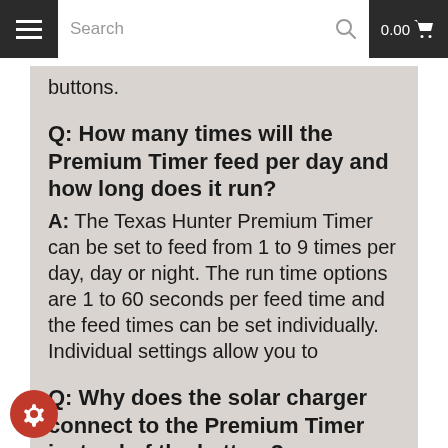Search  0.00
buttons.
Q: How many times will the Premium Timer feed per day and how long does it run?
A: The Texas Hunter Premium Timer can be set to feed from 1 to 9 times per day, day or night. The run time options are 1 to 60 seconds per feed time and the feed times can be set individually. Individual settings allow you to dispense more or less feed at various times during the day.
Q: Why does the solar charger connect to the Premium Timer instead of the battery?